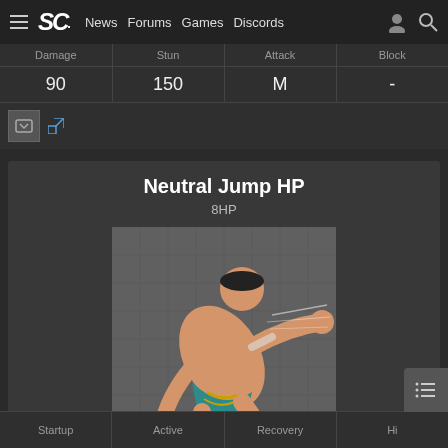SC. News  Forums  Games  Discords
| Damage | Stun | Attack | Block |
| --- | --- | --- | --- |
| 90 | 150 | M | - |
Neutral Jump HP
8HP
[Figure (photo): Street Fighter V character performing a neutral jump heavy punch aerial attack. The fighter is shown mid-air in a diagonal orientation, extending their arm outward to punch. The background is a grey grid pattern.]
| Startup | Active | Recovery | Hi |
| --- | --- | --- | --- |